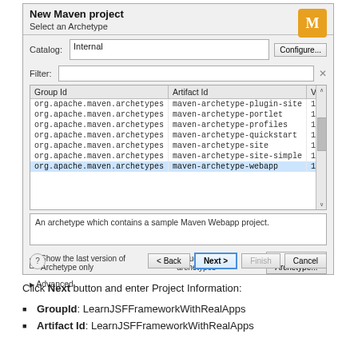[Figure (screenshot): Eclipse IDE dialog: New Maven project - Select an Archetype. Shows a table of Maven archetypes with org.apache.maven.archetypes group, including maven-archetype-webapp selected (highlighted in blue) with version 1.0. Catalog set to Internal. Description box reads: An archetype which contains a sample Maven Webapp project. Checkboxes for 'Show the last version of Archetype only' (checked) and 'Include snapshot archetypes' (unchecked). Buttons: < Back, Next > (active), Finish (disabled), Cancel.]
Click Next button and enter Project Information:
GroupId: LearnJSFFrameworkWithRealApps
Artifact Id: LearnJSFFrameworkWithRealApps